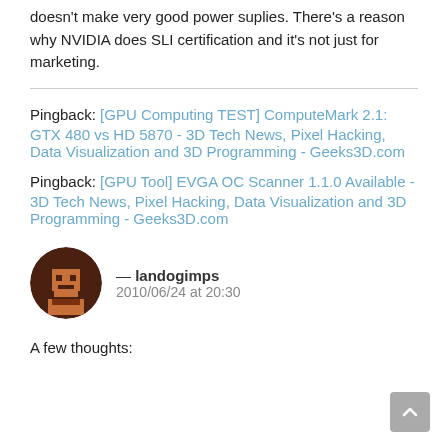doesn't make very good power suplies. There's a reason why NVIDIA does SLI certification and it's not just for marketing.
Pingback: [GPU Computing TEST] ComputeMark 2.1: GTX 480 vs HD 5870 - 3D Tech News, Pixel Hacking, Data Visualization and 3D Programming - Geeks3D.com
Pingback: [GPU Tool] EVGA OC Scanner 1.1.0 Available - 3D Tech News, Pixel Hacking, Data Visualization and 3D Programming - Geeks3D.com
— landogimps
2010/06/24 at 20:30
A few thoughts: